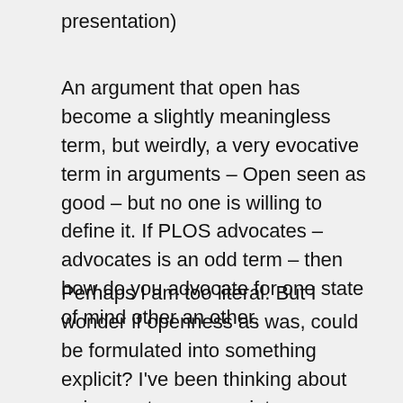presentation)
An argument that open has become a slightly meaningless term, but weirdly, a very evocative term in arguments – Open seen as good – but no one is willing to define it. If PLOS advocates – advocates is an odd term – then how do you advocate for one state of mind other an other.
Perhaps I am too literal. But I wonder if openness as was, could be formulated into something explicit? I've been thinking about going past openness into a democratic basis instead, where common